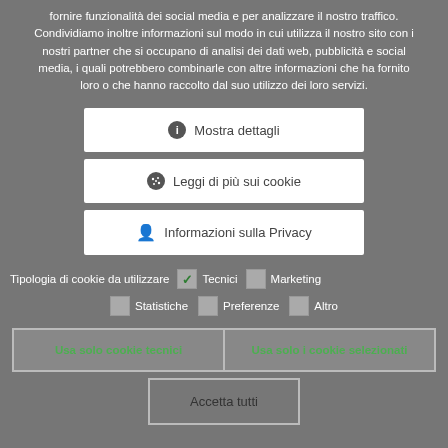fornire funzionalità dei social media e per analizzare il nostro traffico. Condividiamo inoltre informazioni sul modo in cui utilizza il nostro sito con i nostri partner che si occupano di analisi dei dati web, pubblicità e social media, i quali potrebbero combinarle con altre informazioni che ha fornito loro o che hanno raccolto dal suo utilizzo dei loro servizi.
ℹ Mostra dettagli
🍪 Leggi di più sui cookie
👤 Informazioni sulla Privacy
Tipologia di cookie da utilizzare  ✓ Tecnici  ☐ Marketing  ☐ Statistiche  ☐ Preferenze  ☐ Altro
Usa solo cookie tecnici
Usa solo i cookie selezionati
Accetta tutti